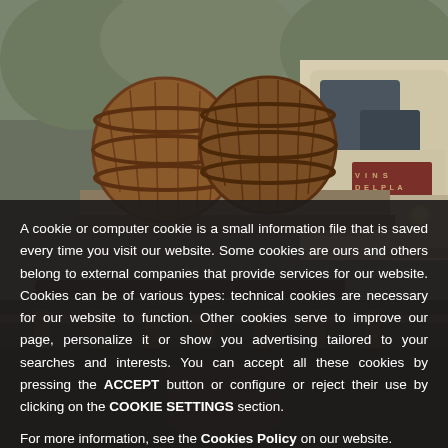[Figure (photo): Vintage white truck carrying large wooden wine barrels, with a sign reading 'VINS DEL PLA DE BAGES' on the door. Dark industrial background.]
A cookie or computer cookie is a small information file that is saved every time you visit our website. Some cookies are ours and others belong to external companies that provide services for our website. Cookies can be of various types: technical cookies are necessary for our website to function. Other cookies serve to improve our page, personalize it or show you advertising tailored to your searches and interests. You can accept all these cookies by pressing the ACCEPT button or configure or reject their use by clicking on the COOKIE SETTINGS section.
For more information, see the Cookies Policy on our website.
[Figure (photo): Partially visible dark interior photo, likely a wine cellar, visible at the bottom of the page behind the cookie overlay.]